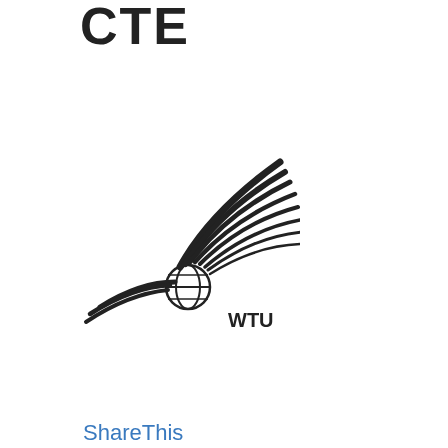CTE
[Figure (logo): WTU logo with stylized globe and swoosh design, with text 'WTU' below]
ShareThis
/www/htdocs/w00ed32 warning: call_user_func_ 'oauth_commmon_is_pr /www/htdocs/w00ed32 warning: call_user_func_ 'oauth_commmon_is_pr /www/htdocs/w00ed32 warning: call_user_func_ 'oauth_commmon_is_pr /www/htdocs/w00ed32 strict warning: Non-stati /www/htdocs/w00ed32 strict warning: Declarati views_handler::query($g /www/htdocs/w00ed32 strict warning: Declarati views_handler_field::ele false) in /www/htdocs/w00ed32 line 229. strict warning: Declarati